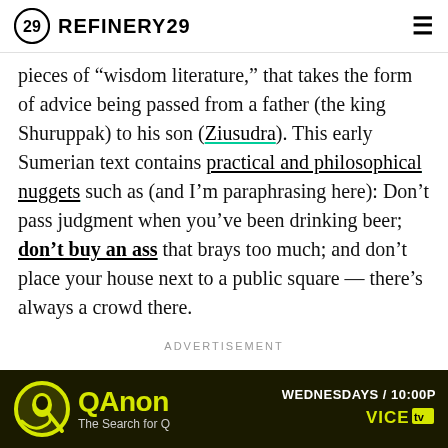REFINERY29
pieces of “wisdom literature,” that takes the form of advice being passed from a father (the king Shuruppak) to his son (Ziusudra). This early Sumerian text contains practical and philosophical nuggets such as (and I’m paraphrasing here): Don’t pass judgment when you’ve been drinking beer; don’t buy an ass that brays too much; and don’t place your house next to a public square — there’s always a crowd there.
ADVERTISEMENT
[Figure (screenshot): QAnon - The Search for Q advertisement banner. WEDNESDAYS / 10:00P on VICE TV. Black background with yellow QAnon logo and yellow/green title text.]